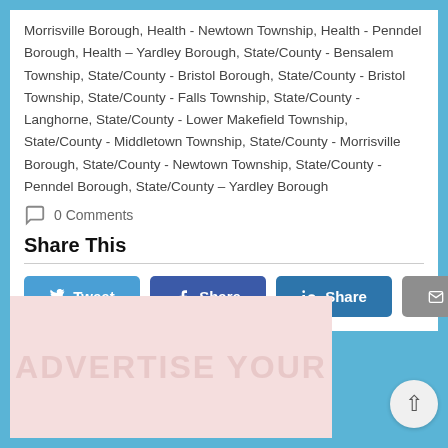Morrisville Borough, Health - Newtown Township, Health - Penndel Borough, Health – Yardley Borough, State/County - Bensalem Township, State/County - Bristol Borough, State/County - Bristol Township, State/County - Falls Township, State/County - Langhorne, State/County - Lower Makefield Township, State/County - Middletown Township, State/County - Morrisville Borough, State/County - Newtown Township, State/County - Penndel Borough, State/County – Yardley Borough
0 Comments
Share This
[Figure (other): Social share buttons: Tweet (Twitter), Share (Facebook), Share (LinkedIn), Email]
[Figure (other): Advertisement banner with text ADVERTISE YOUR]